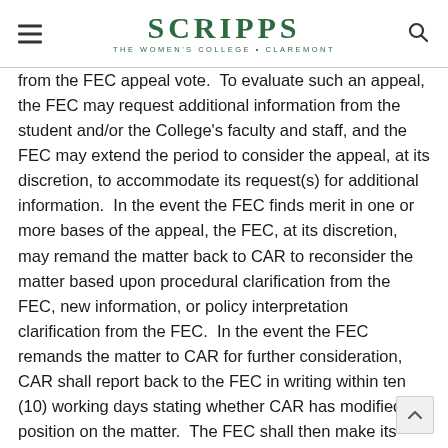SCRIPPS — THE WOMEN'S COLLEGE • CLAREMONT
from the FEC appeal vote.  To evaluate such an appeal, the FEC may request additional information from the student and/or the College's faculty and staff, and the FEC may extend the period to consider the appeal, at its discretion, to accommodate its request(s) for additional information.  In the event the FEC finds merit in one or more bases of the appeal, the FEC, at its discretion, may remand the matter back to CAR to reconsider the matter based upon procedural clarification from the FEC, new information, or policy interpretation clarification from the FEC.  In the event the FEC remands the matter to CAR for further consideration, CAR shall report back to the FEC in writing within ten (10) working days stating whether CAR has modified its position on the matter.  The FEC shall then make its final determination within five (5) working days of receiving CAR's report. The decision by